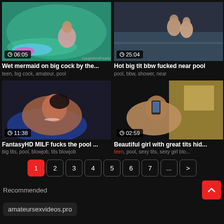[Figure (screenshot): Video thumbnail: woman in mermaid costume by a pool, duration 06:05]
Wet mermaid on big cock by the...
teen, big cock, amateur, pool
[Figure (screenshot): Video thumbnail: two people near a pool, duration 25:04]
Hot big tit bbw fucked near pool
pool, bbw, shower, near
[Figure (screenshot): Video thumbnail: woman lying down, duration 11:38]
FantasyHD MILF fucks the pool ...
big tits, pool, blowjob, tits blowjob
[Figure (screenshot): Video thumbnail: person with phone, duration 02:59]
Beautiful girl with great tits hid...
teen, pool, sexy tits, sexy girl blo...
1 2 3 4 5 6 7 ... >
Recommended
amateursexvideos.pro